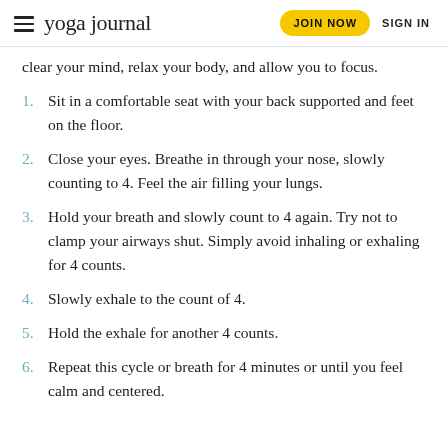yoga journal | JOIN NOW | SIGN IN
clear your mind, relax your body, and allow you to focus.
1. Sit in a comfortable seat with your back supported and feet on the floor.
2. Close your eyes. Breathe in through your nose, slowly counting to 4. Feel the air filling your lungs.
3. Hold your breath and slowly count to 4 again. Try not to clamp your airways shut. Simply avoid inhaling or exhaling for 4 counts.
4. Slowly exhale to the count of 4.
5. Hold the exhale for another 4 counts.
6. Repeat this cycle or breath for 4 minutes or until you feel calm and centered.